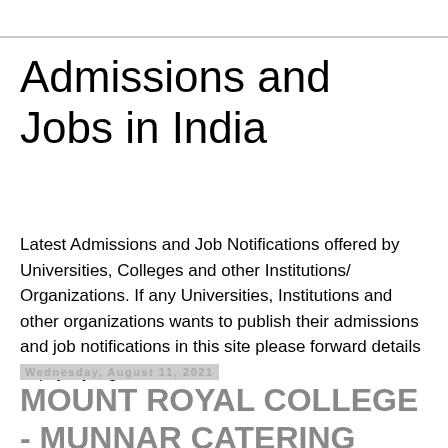Admissions and Jobs in India
Latest Admissions and Job Notifications offered by Universities, Colleges and other Institutions/ Organizations. If any Universities, Institutions and other organizations wants to publish their admissions and job notifications in this site please forward details to psysaji@gmail.com
Wednesday, August 11, 2021
MOUNT ROYAL COLLEGE - MUNNAR CATERING COLLEGE ADMISSION NOTICE 2021